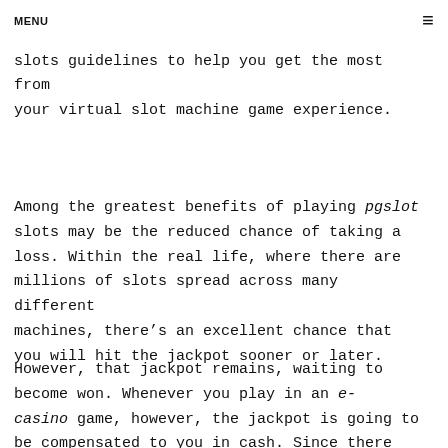MENU ☰
obtain the same great thrills and, hopefully, exactly the same big profits. Here are a few slots guidelines to help you get the most from your virtual slot machine game experience.
Among the greatest benefits of playing pgslot slots may be the reduced chance of taking a loss. Within the real life, where there are millions of slots spread across many different machines, there's an excellent chance that you will hit the jackpot sooner or later.
However, that jackpot remains, waiting to become won. Whenever you play in an e-casino game, however, the jackpot is going to be compensated to you in cash. Since there